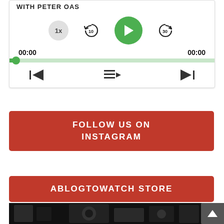[Figure (screenshot): Podcast/audio media player widget with speed button (1x), rewind 10s, green play button, forward 30s controls, time display 00:00 / 00:00, green progress bar, and navigation row with previous, playlist, next buttons]
FOLLOW US ON INSTAGRAM
ABLOGTOWATCH STORE
[Figure (photo): Dark merchandise/store image showing watches and clothing items on black background, partially visible]